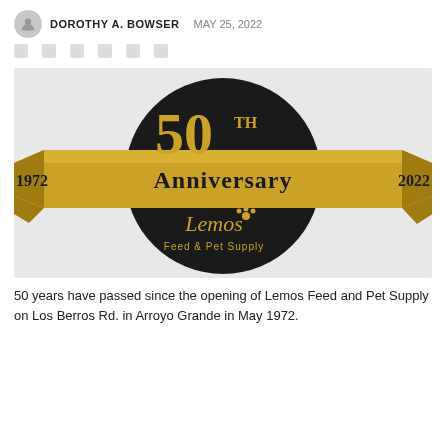DOROTHY A. BOWSER  MAY 25, 2022
[Figure (logo): Lemos Feed & Pet Supply 50th Anniversary logo on a black circular badge with gold ribbon reading '1972 Anniversary 2022' and '50TH' at top]
50 years have passed since the opening of Lemos Feed and Pet Supply on Los Berros Rd. in Arroyo Grande in May 1972.